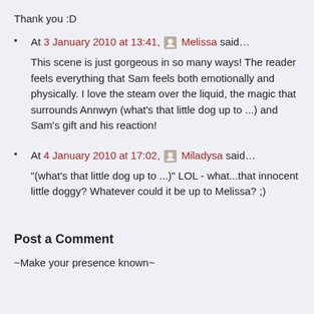Thank you :D
At 3 January 2010 at 13:41, [avatar] Melissa said…
This scene is just gorgeous in so many ways! The reader feels everything that Sam feels both emotionally and physically. I love the steam over the liquid, the magic that surrounds Annwyn (what's that little dog up to ...) and Sam's gift and his reaction!
At 4 January 2010 at 17:02, [avatar] Miladysa said…
"(what's that little dog up to ...)" LOL - what...that innocent little doggy? Whatever could it be up to Melissa? ;)
Post a Comment
~Make your presence known~